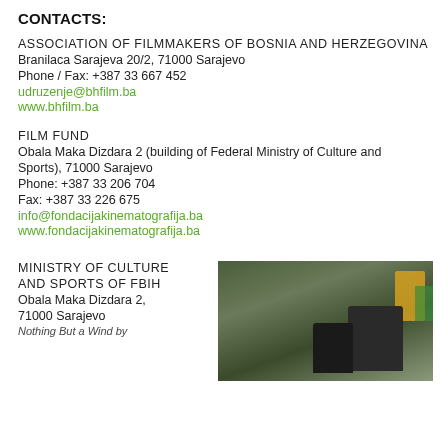CONTACTS:
ASSOCIATION OF FILMMAKERS OF BOSNIA AND HERZEGOVINA
Branilaca Sarajeva 20/2, 71000 Sarajevo
Phone / Fax: +387 33 667 452
udruzenje@bhfilm.ba
www.bhfilm.ba
FILM FUND
Obala Maka Dizdara 2 (building of Federal Ministry of Culture and Sports), 71000 Sarajevo
Phone: +387 33 206 704
Fax: +387 33 226 675
info@fondacijakinematografija.ba
www.fondacijakinematografija.ba
MINISTRY OF CULTURE AND SPORTS OF FBIH
Obala Maka Dizdara 2, 71000 Sarajevo
Nothing But a Wind by...
[Figure (photo): A dark outdoor photo showing two figures and trees with an orange and green accent in the background, likely a film production still.]